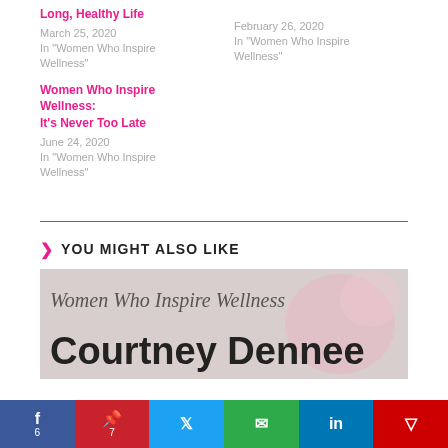Long, Healthy Life
March 25, 2020
In "Women Who Inspire Wellness"
February 26, 2020
In "Women Who Inspire Wellness"
Women Who Inspire Wellness: It's Never Too Late
June 24, 2020
In "Women Who Inspire Wellness"
YOU MIGHT ALSO LIKE
[Figure (photo): Women Who Inspire Wellness banner featuring text 'Women Who Inspire Wellness' in script and 'Courtney Dennee' in bold]
Social share bar with Facebook (6), Pinterest (7), Twitter, Email, LinkedIn, Pocket buttons